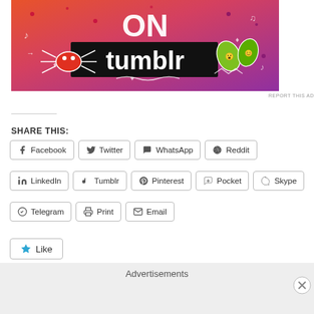[Figure (illustration): Tumblr advertisement banner with orange-to-pink gradient background, 'ON tumblr' text in white and black, cartoon spider, leaves, and music note decorations]
REPORT THIS AD
SHARE THIS:
Facebook  Twitter  WhatsApp  Reddit
LinkedIn  Tumblr  Pinterest  Pocket  Skype
Telegram  Print  Email
Like
Be the first to like this.
Advertisements